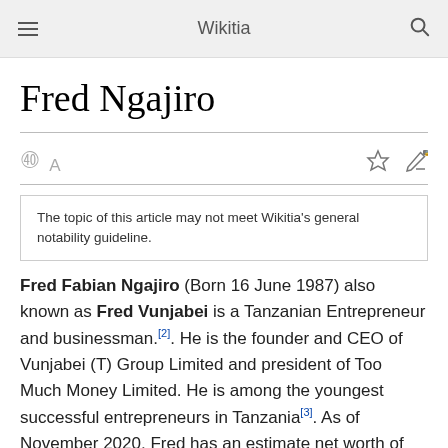Wikitia
Fred Ngajiro
The topic of this article may not meet Wikitia's general notability guideline.
Fred Fabian Ngajiro (Born 16 June 1987) also known as Fred Vunjabei is a Tanzanian Entrepreneur and businessman.[2]. He is the founder and CEO of Vunjabei (T) Group Limited and president of Too Much Money Limited. He is among the youngest successful entrepreneurs in Tanzania[3]. As of November 2020, Fred has an estimate net worth of Tanzanian Shilling 4.64 Billion according to The Citizen Magazine[4]